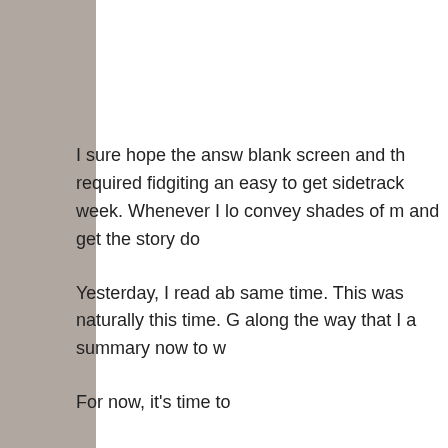I sure hope the answ blank screen and th required fidgiting an easy to get sidetrack week. Whenever I lo convey shades of m and get the story do
Yesterday, I read ab same time. This was naturally this time. G along the way that I a summary now to w
For now, it's time to
Posted by R. Ira Harris at
Labels: 26 de julio, cuba,